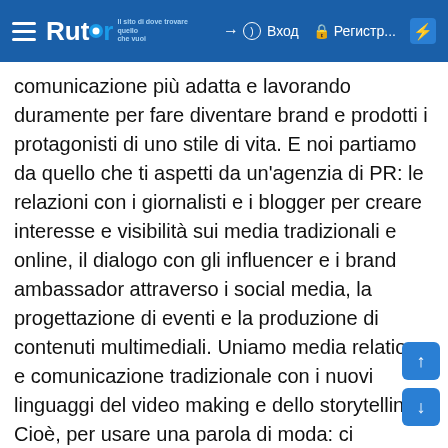Rutor | Вход | Регистр... | ⚡
comunicazione più adatta e lavorando duramente per fare diventare brand e prodotti i protagonisti di uno stile di vita. E noi partiamo da quello che ti aspetti da un'agenzia di PR: le relazioni con i giornalisti e i blogger per creare interesse e visibilità sui media tradizionali e online, il dialogo con gli influencer e i brand ambassador attraverso i social media, la progettazione di eventi e la produzione di contenuti multimediali. Uniamo media relations e comunicazione tradizionale con i nuovi linguaggi del video making e dello storytelling. Cioè, per usare una parola di moda: ci occupiamo di content marketing.Come far parlare di un'azienda?Aiutando i manager a dialogare con la business community. Studiando competitor e mercati, parlando quotidianamente con i giornalisti-chiave e con i blogger,organizzando incontri, interviste ed eventi con i media nazionali, locali e verticali cartacei, on air e on line. Insomma, facendo tutto quello che è utile per favorire il dialogo con gli influencer sui temi-chiave. Risultato: i manager delle aziende per cui lavoriamo crescono in autorevolezza e riconoscibilità. Perché la comunicazione corporate oggi passa attraverso il